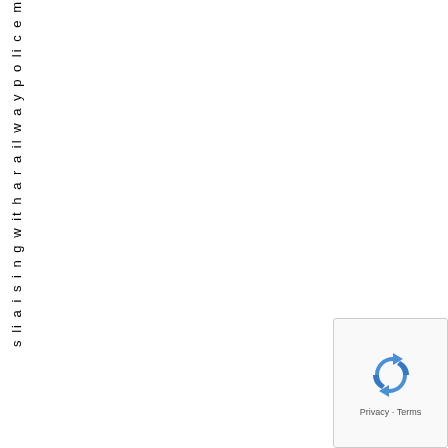s li a i s i n g w it h a r a il w a y p o li c e m
[Figure (other): reCAPTCHA widget with recycling arrows logo and Privacy - Terms text]